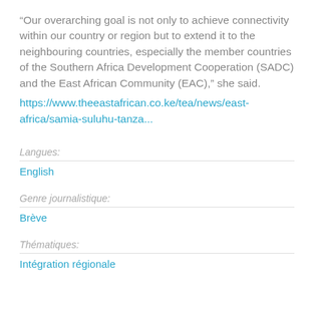“Our overarching goal is not only to achieve connectivity within our country or region but to extend it to the neighbouring countries, especially the member countries of the Southern Africa Development Cooperation (SADC) and the East African Community (EAC),” she said. https://www.theeastafrican.co.ke/tea/news/east-africa/samia-suluhu-tanza...
Langues: English
Genre journalistique: Brève
Thématiques: Intégration régionale